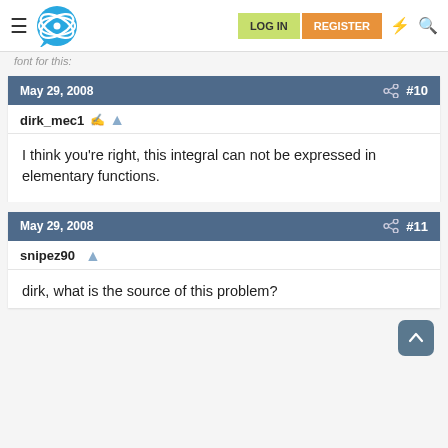LOG IN  REGISTER
font for this:
May 29, 2008  #10
dirk_mec1
I think you're right, this integral can not be expressed in elementary functions.
May 29, 2008  #11
snipez90
dirk, what is the source of this problem?